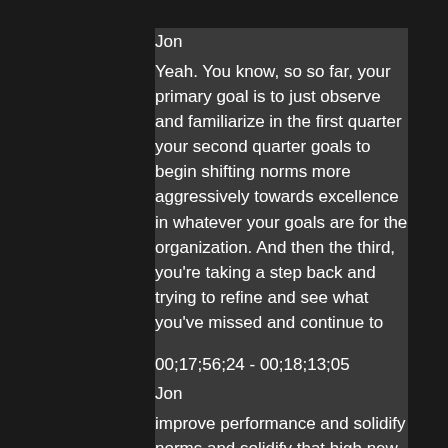Jon
Yeah. You know, so so far, your primary goal is to just observe and familiarize in the first quarter your second quarter goals to begin shifting norms more aggressively towards excellence in whatever your goals are for the organization. And then the third, you're taking a step back and trying to refine and see what you've missed and continue to
00;17;56;24 - 00;18;13;05
Jon
improve performance and solidify norms and solidify that high new standard. And that brings you to the fourth quarter, which is the way I've